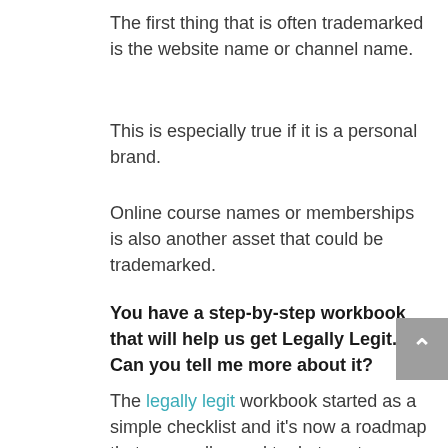The first thing that is often trademarked is the website name or channel name.
This is especially true if it is a personal brand.
Online course names or memberships is also another asset that could be trademarked.
You have a step-by-step workbook that will help us get Legally Legit.  Can you tell me more about it?
The legally legit workbook started as a simple checklist and it's now a roadmap that you really need to do to get your small business